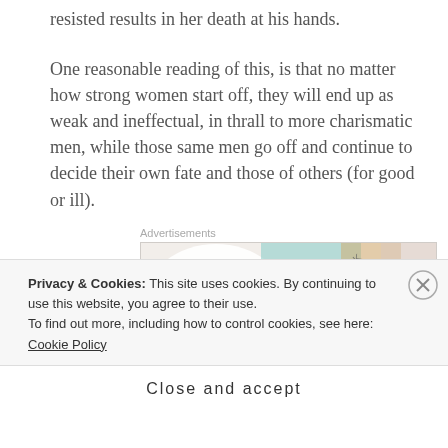resisted results in her death at his hands.
One reasonable reading of this, is that no matter how strong women start off, they will end up as weak and ineffectual, in thrall to more charismatic men, while those same men go off and continue to decide their own fate and those of others (for good or ill).
[Figure (other): Advertisement banner showing WordPress VIP logo alongside Slack, Facebook logos and a 'Learn more' button]
In planetfall I deliberately wanted to avoid this.
Privacy & Cookies: This site uses cookies. By continuing to use this website, you agree to their use. To find out more, including how to control cookies, see here: Cookie Policy
Close and accept